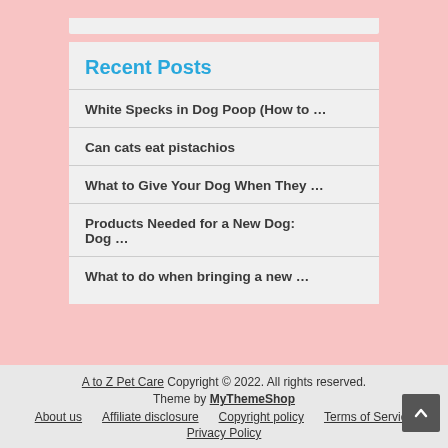Recent Posts
White Specks in Dog Poop (How to …
Can cats eat pistachios
What to Give Your Dog When They …
Products Needed for a New Dog: Dog …
What to do when bringing a new …
A to Z Pet Care Copyright © 2022. All rights reserved. Theme by MyThemeShop About us | Affiliate disclosure | Copyright policy | Terms of Service | Privacy Policy